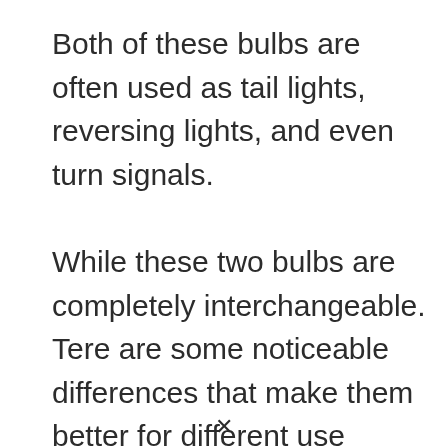Both of these bulbs are often used as tail lights, reversing lights, and even turn signals.
While these two bulbs are completely interchangeable. Tere are some noticeable differences that make them better for different use cases.